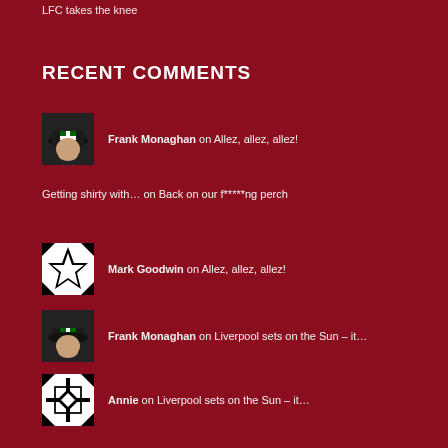LFC takes the knee
RECENT COMMENTS
Frank Monaghan on Allez, allez, allez!
Getting shirty with… on Back on our f*****ng perch
Mark Goodwin on Allez, allez, allez!
Frank Monaghan on Liverpool sets on the Sun – it…
Annie on Liverpool sets on the Sun – it…